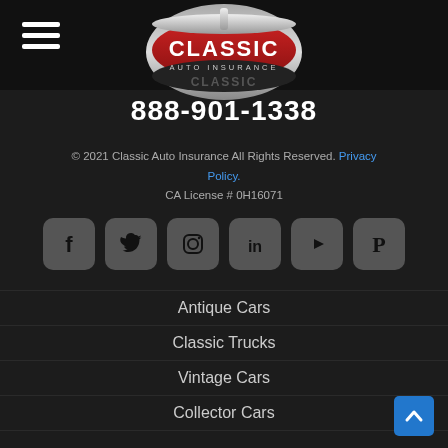[Figure (logo): Classic Auto Insurance logo — red and silver oval emblem with 'CLASSIC AUTO INSURANCE' text]
888-901-1338
© 2021 Classic Auto Insurance All Rights Reserved. Privacy Policy.
CA License # 0H16071
[Figure (infographic): Social media icons row: Facebook, Twitter, Instagram, LinkedIn, YouTube, Pinterest]
Antique Cars
Classic Trucks
Vintage Cars
Collector Cars